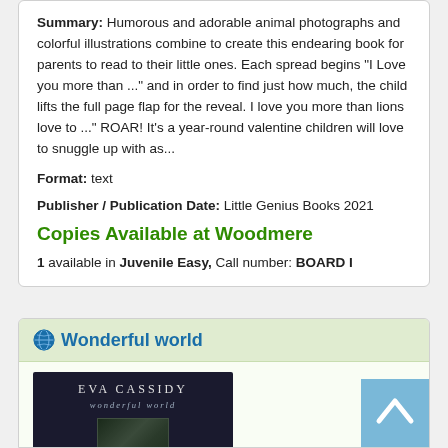Summary: Humorous and adorable animal photographs and colorful illustrations combine to create this endearing book for parents to read to their little ones. Each spread begins "I Love you more than ..." and in order to find just how much, the child lifts the full page flap for the reveal. I love you more than lions love to ..." ROAR! It's a year-round valentine children will love to snuggle up with as...
Format: text
Publisher / Publication Date: Little Genius Books 2021
Copies Available at Woodmere
1 available in Juvenile Easy, Call number: BOARD I
Wonderful world
[Figure (photo): Album cover for Eva Cassidy 'wonderful world' — dark navy background with artist name in spaced caps, italic subtitle, and a small portrait photo below]